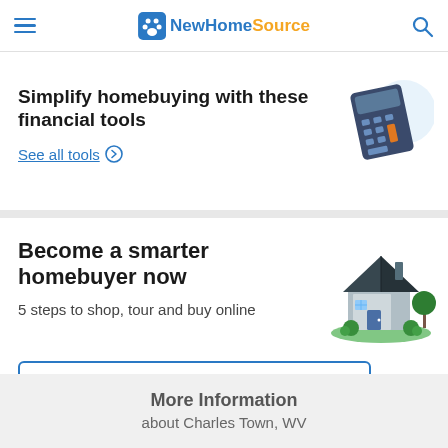NewHomeSource
Simplify homebuying with these financial tools
See all tools
[Figure (illustration): Isometric illustration of a calculator with blue and orange keys on a light blue circular background]
Become a smarter homebuyer now
5 steps to shop, tour and buy online
[Figure (illustration): Isometric illustration of a house with a dark roof, green landscaping around a blue-toned modern home]
Get Started Now
More Information
about Charles Town, WV